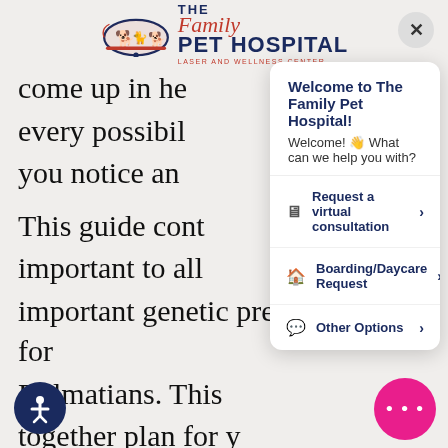[Figure (logo): The Family Pet Hospital Laser and Wellness Center logo with oval animal silhouette graphic]
come up in ne every possibil you notice an
Welcome to The Family Pet Hospital!
Welcome! 👋 What can we help you with?
Request a virtual consultation >
This guide cont important to all important genetic predispositions for Dalmatians. This together plan for y needs. At the end of the article, we have also included a description of wh home to keep your Dal looking and feeling her best. You will know what to watch for, and will all feel better knowing that we're taking the best possible care of your pal.
Boarding/Daycare Request >
Other Options >